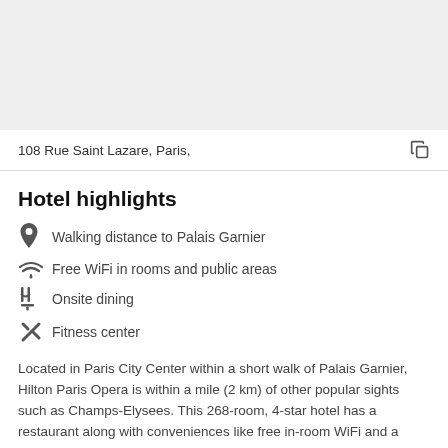[Figure (photo): Hotel photo placeholder area (gray background)]
108 Rue Saint Lazare, Paris,
Hotel highlights
Walking distance to Palais Garnier
Free WiFi in rooms and public areas
Onsite dining
Fitness center
Located in Paris City Center within a short walk of Palais Garnier, Hilton Paris Opera is within a mile (2 km) of other popular sights such as Champs-Elysees. This 268-room, 4-star hotel has a restaurant along with conveniences like free in-room WiFi and a gym.